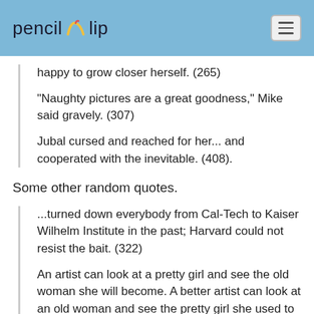pencil clip
happy to grow closer herself. (265)
"Naughty pictures are a great goodness," Mike said gravely. (307)
Jubal cursed and reached for her... and cooperated with the inevitable. (408).
Some other random quotes.
...turned down everybody from Cal-Tech to Kaiser Wilhelm Institute in the past; Harvard could not resist the bait. (322)
An artist can look at a pretty girl and see the old woman she will become. A better artist can look at an old woman and see the pretty girl she used to be. A great artist can look at an old